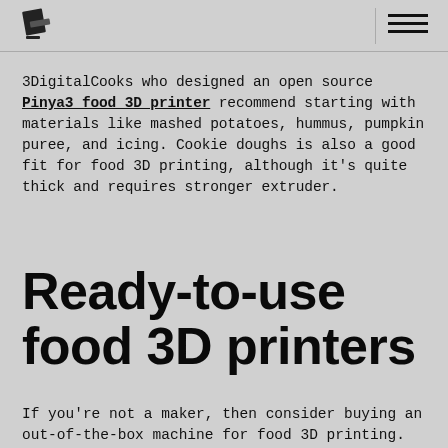[Logo] [Menu icon]
3DigitalCooks who designed an open source Pinya3 food 3D printer recommend starting with materials like mashed potatoes, hummus, pumpkin puree, and icing. Cookie doughs is also a good fit for food 3D printing, although it's quite thick and requires stronger extruder.
Ready-to-use food 3D printers
If you're not a maker, then consider buying an out-of-the-box machine for food 3D printing. One of the